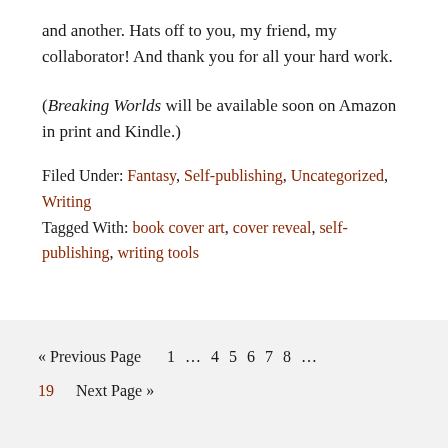and another. Hats off to you, my friend, my collaborator! And thank you for all your hard work.
(Breaking Worlds will be available soon on Amazon in print and Kindle.)
Filed Under: Fantasy, Self-publishing, Uncategorized, Writing
Tagged With: book cover art, cover reveal, self-publishing, writing tools
« Previous Page  1  …  4  5  6  7  8  …  19  Next Page »